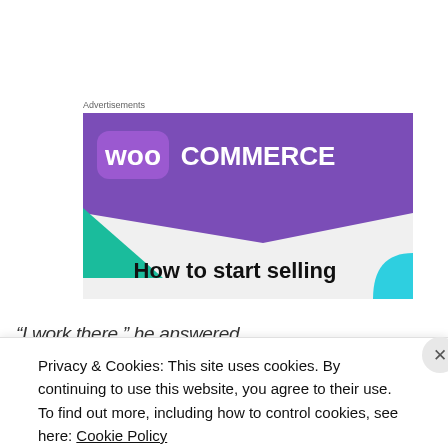Advertisements
[Figure (illustration): WooCommerce advertisement banner showing purple branded header with WooCommerce logo, decorative teal and blue geometric shapes, and text 'How to start selling' on a light grey background.]
“I work there,” he answered
Privacy & Cookies: This site uses cookies. By continuing to use this website, you agree to their use.
To find out more, including how to control cookies, see here: Cookie Policy
Close and accept